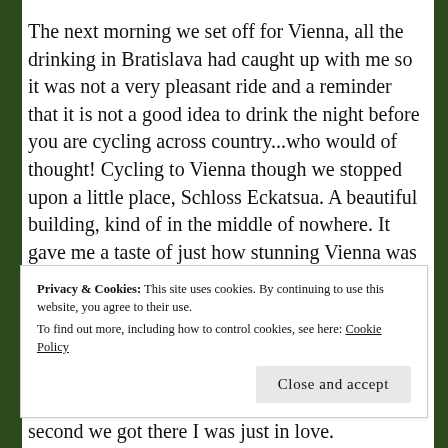The next morning we set off for Vienna, all the drinking in Bratislava had caught up with me so it was not a very pleasant ride and a reminder that it is not a good idea to drink the night before you are cycling across country...who would of thought! Cycling to Vienna though we stopped upon a little place, Schloss Eckatsua. A beautiful building, kind of in the middle of nowhere. It gave me a taste of just how stunning Vienna was going to be. it also had little hanging baskets from the tree's to sit in and Mel and I had an amazing nap in them. Much needed after Bratislava. We cycled along the Danube again until we arrived at out Campsite, Neuw Donau. A great little site about a 10
Privacy & Cookies: This site uses cookies. By continuing to use this website, you agree to their use. To find out more, including how to control cookies, see here: Cookie Policy
second we got there I was just in love. Everywhere was just